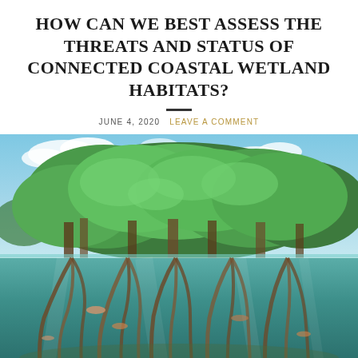HOW CAN WE BEST ASSESS THE THREATS AND STATUS OF CONNECTED COASTAL WETLAND HABITATS?
JUNE 4, 2020   LEAVE A COMMENT
[Figure (photo): Split underwater/above-water photograph of mangrove trees. The upper half shows lush green mangrove foliage against a blue sky with clouds. The lower half shows the mangrove root system submerged in clear turquoise water with fish visible.]